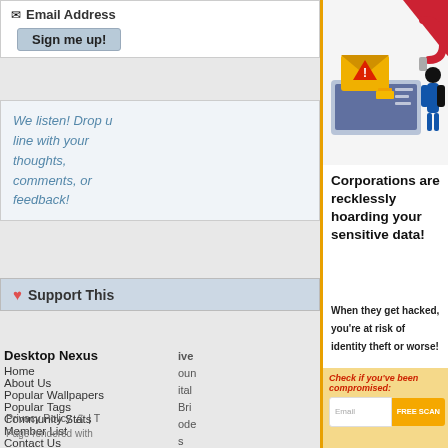Email Address
Sign me up!
We listen! Drop us a line with your thoughts, comments, or feedback!
Support This
Desktop Nexus
Home
About Us
Popular Wallpapers
Popular Tags
Community Stats
Member List
Contact Us
Privacy Policy | T...
Page rendered with
[Figure (illustration): Illustration of a person using a magnet to steal data from a laptop, with an envelope showing an exclamation mark warning sign]
Corporations are recklessly hoarding your sensitive data!
When they get hacked, you’re at risk of identity theft or worse!
Check if you've been compromised:
Email Address
FREE SCAN